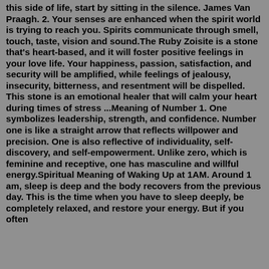this side of life, start by sitting in the silence. James Van Praagh. 2. Your senses are enhanced when the spirit world is trying to reach you. Spirits communicate through smell, touch, taste, vision and sound.The Ruby Zoisite is a stone that's heart-based, and it will foster positive feelings in your love life. Your happiness, passion, satisfaction, and security will be amplified, while feelings of jealousy, insecurity, bitterness, and resentment will be dispelled. This stone is an emotional healer that will calm your heart during times of stress ...Meaning of Number 1. One symbolizes leadership, strength, and confidence. Number one is like a straight arrow that reflects willpower and precision. One is also reflective of individuality, self-discovery, and self-empowerment. Unlike zero, which is feminine and receptive, one has masculine and willful energy.Spiritual Meaning of Waking Up at 1AM. Around 1 am, sleep is deep and the body recovers from the previous day. This is the time when you have to sleep deeply, be completely relaxed, and restore your energy. But if you often